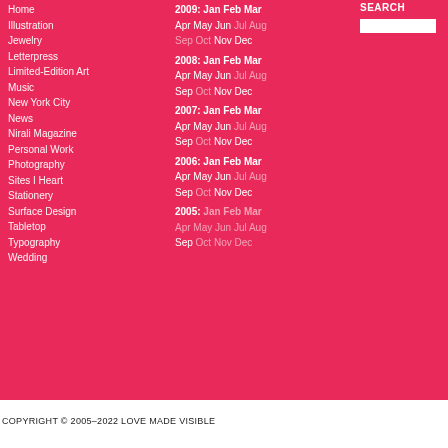Home
Illustration
Jewelry
Letterpress
Limited-Edition Art
Music
New York City
News
Nirali Magazine
Personal Work
Photography
Sites I Heart
Stationery
Surface Design
Tabletop
Typography
Wedding
2009: Jan Feb Mar Apr May Jun Jul Aug Sep Oct Nov Dec
2008: Jan Feb Mar Apr May Jun Jul Aug Sep Oct Nov Dec
2007: Jan Feb Mar Apr May Jun Jul Aug Sep Oct Nov Dec
2006: Jan Feb Mar Apr May Jun Jul Aug Sep Oct Nov Dec
2005: Jan Feb Mar Apr May Jun Jul Aug Sep Oct Nov Dec
SEARCH
COPYRIGHT © 2005–2022 LOVE MADE VISIBLE